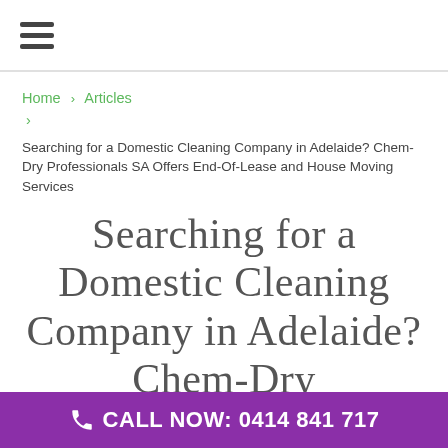≡ (hamburger menu)
Home › Articles ›
Searching for a Domestic Cleaning Company in Adelaide? Chem-Dry Professionals SA Offers End-Of-Lease and House Moving Services
Searching for a Domestic Cleaning Company in Adelaide? Chem-Dry
CALL NOW: 0414 841 717